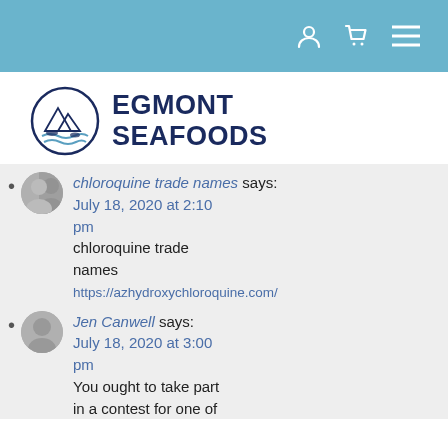Navigation bar with user, cart, and menu icons
[Figure (logo): Egmont Seafoods logo: circular emblem with fish and waves, beside bold text EGMONT SEAFOODS]
chloroquine trade names says: July 18, 2020 at 2:10 pm
chloroquine trade names
https://azhydroxychloroquine.com/
Jen Canwell says: July 18, 2020 at 3:00 pm
You ought to take part in a contest for one of